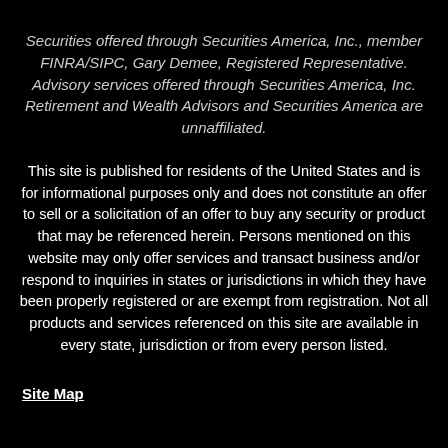Securities offered through Securities America, Inc., member FINRA/SIPC, Gary Demee, Registered Representative. Advisory services offered through Securities America, Inc. Retirement and Wealth Advisors and Securities America are unnaffiliated.
This site is published for residents of the United States and is for informational purposes only and does not constitute an offer to sell or a solicitation of an offer to buy any security or product that may be referenced herein. Persons mentioned on this website may only offer services and transact business and/or respond to inquiries in states or jurisdictions in which they have been properly registered or are exempt from registration. Not all products and services referenced on this site are available in every state, jurisdiction or from every person listed.
Site Map